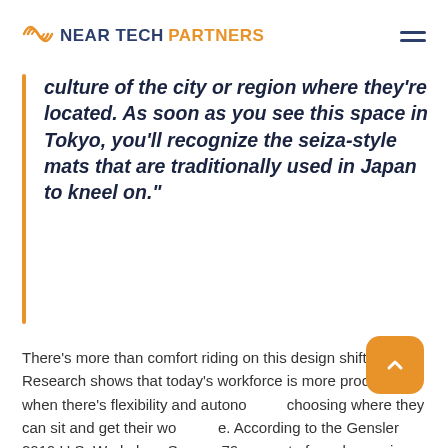NEAR TECH PARTNERS
culture of the city or region where they're located. As soon as you see this space in Tokyo, you'll recognize the seiza-style mats that are traditionally used in Japan to kneel on.”
There’s more than comfort riding on this design shift. Research shows that today’s workforce is more productive when there’s flexibility and autonomy choosing where they can sit and get their work done. According to the Gensler 2019 U.S. Workplace Survey, 79 percent of employees in workplaces with a variety of settings reported having a great work experience. And as employers compete to attract the best